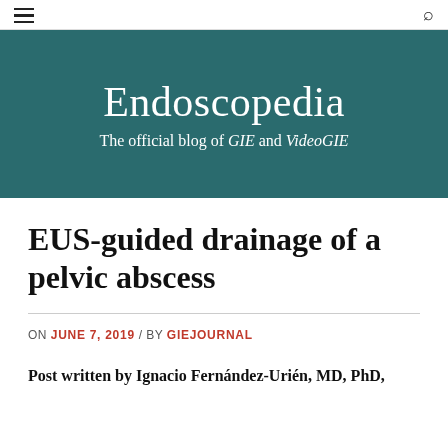Endoscopedia — navigation bar with hamburger menu and search icon
[Figure (logo): Endoscopedia banner: teal/dark green background with title 'Endoscopedia' and subtitle 'The official blog of GIE and VideoGIE' in white serif text]
EUS-guided drainage of a pelvic abscess
ON JUNE 7, 2019 / BY GIEJOURNAL
Post written by Ignacio Fernández-Urién, MD, PhD,